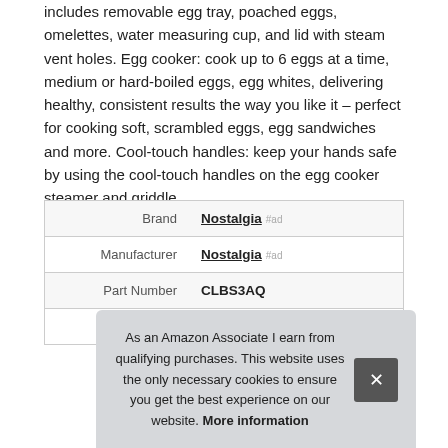includes removable egg tray, poached eggs, omelettes, water measuring cup, and lid with steam vent holes. Egg cooker: cook up to 6 eggs at a time, medium or hard-boiled eggs, egg whites, delivering healthy, consistent results the way you like it – perfect for cooking soft, scrambled eggs, egg sandwiches and more. Cool-touch handles: keep your hands safe by using the cool-touch handles on the egg cooker steamer and griddle.
|  |  |
| --- | --- |
| Brand | Nostalgia #ad |
| Manufacturer | Nostalgia #ad |
| Part Number | CLBS3AQ |
| Model | CLBS3AQ |
As an Amazon Associate I earn from qualifying purchases. This website uses the only necessary cookies to ensure you get the best experience on our website. More information